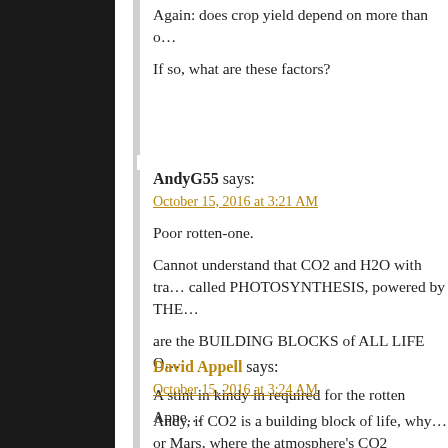Again: does crop yield depend on more than o…
If so, what are these factors?
AndyG55 says:
October 15, 2016 at 3:21 AM
Poor rotten-one.
Cannot understand that CO2 and H2O with tra… called PHOTOSYNTHESIS, powered by THE…
are the BUILDING BLOCKS of ALL LIFE O…
A stint in kindy in required for the rotten Appe…
David Appell says:
October 15, 2016 at 3:24 AM
Andy, if CO2 is a building block of life, why… or Mars, where the atmosphere's CO2 concen…